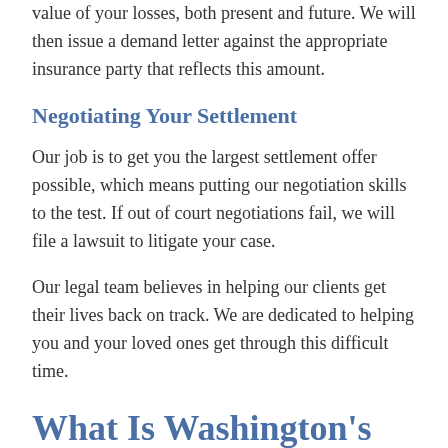value of your losses, both present and future. We will then issue a demand letter against the appropriate insurance party that reflects this amount.
Negotiating Your Settlement
Our job is to get you the largest settlement offer possible, which means putting our negotiation skills to the test. If out of court negotiations fail, we will file a lawsuit to litigate your case.
Our legal team believes in helping our clients get their lives back on track. We are dedicated to helping you and your loved ones get through this difficult time.
What Is Washington's Statute of Limitations for